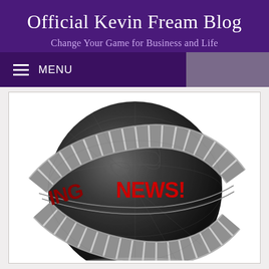Official Kevin Fream Blog
Change Your Game for Business and Life
MENU
[Figure (illustration): 3D metallic globe with a silver segmented band wrapping around its equator displaying 'BREAKING NEWS!' in large red bold letters. The globe is dark/charcoal colored with visible continent outlines.]